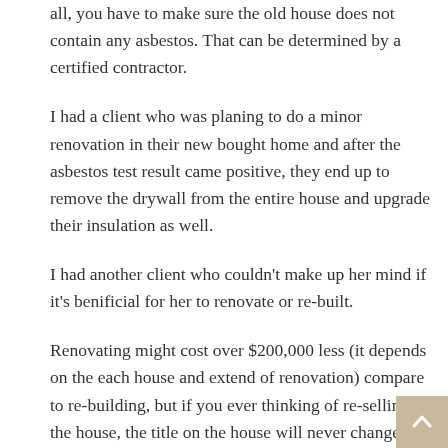all, you have to make sure the old house does not contain any asbestos. That can be determined by a certified contractor.
I had a client who was planing to do a minor renovation in their new bought home and after the asbestos test result came positive, they end up to remove the drywall from the entire house and upgrade their insulation as well.
I had another client who couldn't make up her mind if it's benificial for her to renovate or re-built.
Renovating might cost over $200,000 less (it depends on the each house and extend of renovation) compare to re-building, but if you ever thinking of re-selling the house, the title on the house will never changes as the date is built. It will consider an old house with a major renovation which might effect on your asking price determination.